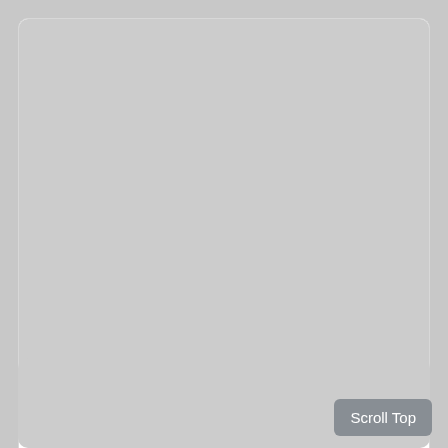[Figure (photo): Gray placeholder image area at top of card]
Gayathri-1024X768_70
Hits: 766
Downloads: 125
[Figure (other): Five gold/orange stars rating]
Description: Download Maa Gayathri desktop wallpapers
[Figure (photo): Second gray placeholder card at bottom]
Scroll Top